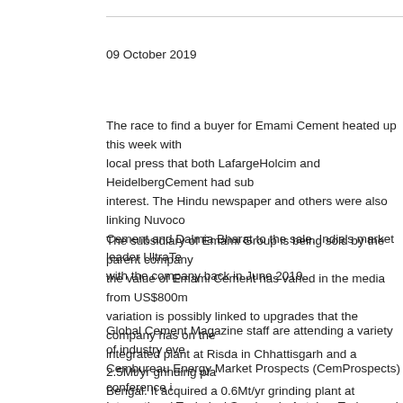09 October 2019
The race to find a buyer for Emami Cement heated up this week with local press that both LafargeHolcim and HeidelbergCement had submitted interest. The Hindu newspaper and others were also linking Nuvoco Cement and Dalmia Bharat to the sale. India's market leader UltraTe with the company back in June 2019.
The subsidiary of Emami Group is being sold by the parent company the value of Emami Cement has varied in the media from US$800m variation is possibly linked to upgrades that the company has on the integrated plant at Risda in Chhattisgarh and a 2.5Mt/yr grinding pla Bengal. It acquired a 0.6Mt/yr grinding plant at Bhabua, Bihar in 201 to 1.8Mt/yr. It is also yet to commission a 2.5Mt/yr grinding plant at J the firm has mining assets in Guntur in Andhra Pradesh and near Ja
Global Cement Magazine staff are attending a variety of industry eve Cembureau Energy Market Prospects (CemProspects) conference i International Technical Seminar in Antalya, Turkey and the European conference in Thessaloniki, Greece. Watch out for reviews of each c issues of the magazine or on the website.
Of note to India, various speakers on the first day at CemProspects that market. The country was reported as 'promising' in a general re